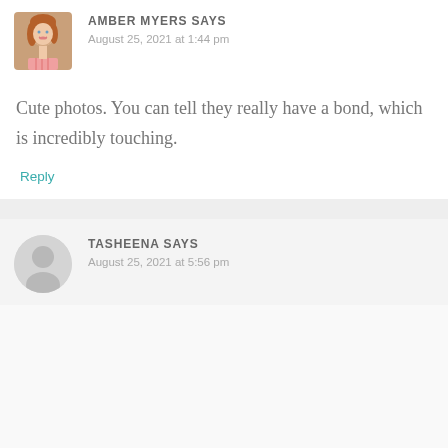[Figure (photo): Avatar photo of Amber Myers, a young woman with long auburn hair, smiling, wearing a pink striped top]
AMBER MYERS SAYS
August 25, 2021 at 1:44 pm
Cute photos. You can tell they really have a bond, which is incredibly touching.
Reply
[Figure (illustration): Default avatar placeholder: grey circle with white silhouette of a person]
TASHEENA SAYS
August 25, 2021 at 5:56 pm